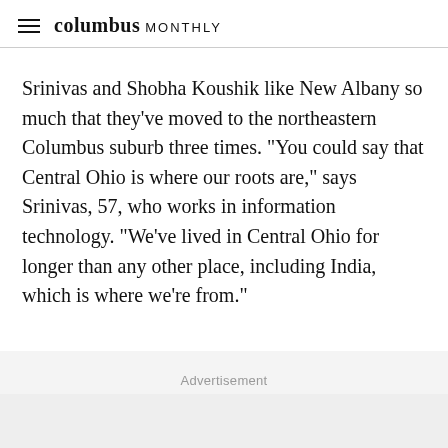columbus MONTHLY
Srinivas and Shobha Koushik like New Albany so much that they’ve moved to the northeastern Columbus suburb three times. “You could say that Central Ohio is where our roots are,” says Srinivas, 57, who works in information technology. “We’ve lived in Central Ohio for longer than any other place, including India, which is where we’re from.”
Advertisement